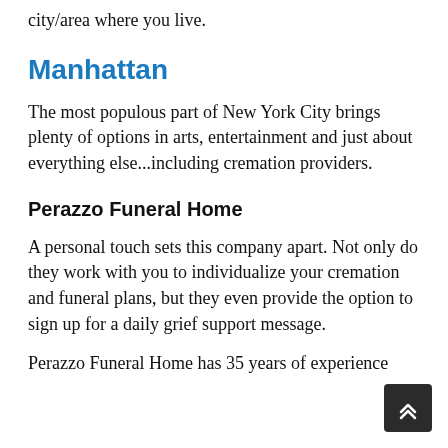city/area where you live.
Manhattan
The most populous part of New York City brings plenty of options in arts, entertainment and just about everything else...including cremation providers.
Perazzo Funeral Home
A personal touch sets this company apart. Not only do they work with you to individualize your cremation and funeral plans, but they even provide the option to sign up for a daily grief support message.
Perazzo Funeral Home has 35 years of experience